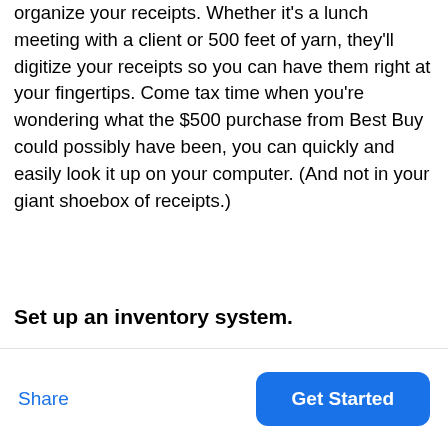organize your receipts. Whether it's a lunch meeting with a client or 500 feet of yarn, they'll digitize your receipts so you can have them right at your fingertips. Come tax time when you're wondering what the $500 purchase from Best Buy could possibly have been, you can quickly and easily look it up on your computer. (And not in your giant shoebox of receipts.)
Set up an inventory system.
Considering your taxes depend on